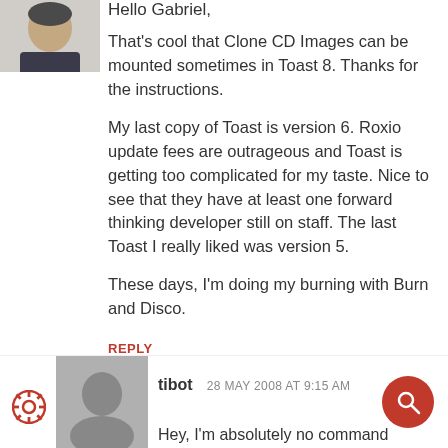[Figure (photo): Avatar photo of a man, partially cropped, top-left corner]
Hello Gabriel,
That's cool that Clone CD Images can be mounted sometimes in Toast 8. Thanks for the instructions.
My last copy of Toast is version 6. Roxio update fees are outrageous and Toast is getting too complicated for my taste. Nice to see that they have at least one forward thinking developer still on staff. The last Toast I really liked was version 5.
These days, I'm doing my burning with Burn and Disco.
REPLY
[Figure (photo): Gray placeholder avatar for user tibot]
tibot   28 MAY 2008 AT 9:15 AM
Hey, I'm absolutely no command